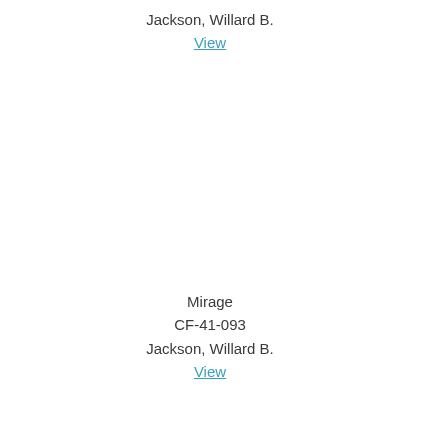Jackson, Willard B.
View
Mirage
CF-41-093
Jackson, Willard B.
View